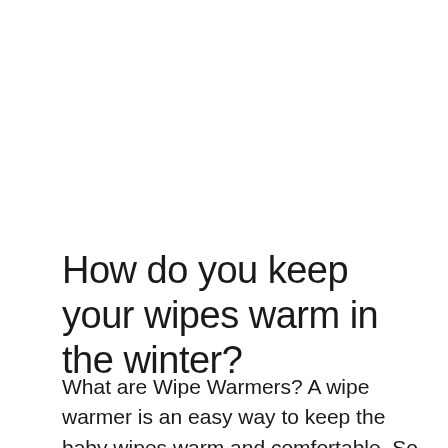How do you keep your wipes warm in the winter?
What are Wipe Warmers? A wipe warmer is an easy way to keep the baby wipes warm and comfortable. So, this product ensures that your little bundle of joy is happy during diaper changes even when it’s winter or in